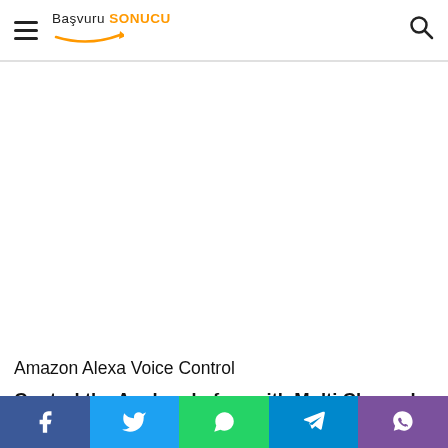Başvuru SONUCU
[Figure (other): White advertisement placeholder area]
Amazon Alexa Voice Control
Control the Avr hands-free with Multi Channel Home Theatre
Social share buttons: Facebook, Twitter, WhatsApp, Telegram, Viber